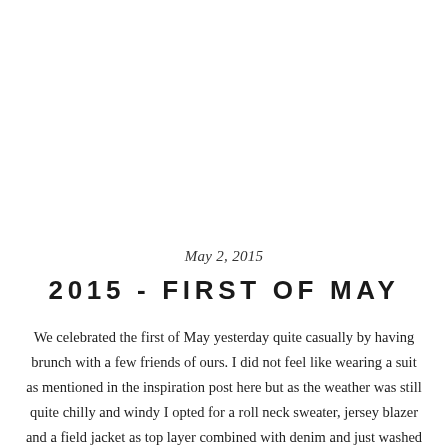May 2, 2015
2015 - FIRST OF MAY
We celebrated the first of May yesterday quite casually by having brunch with a few friends of ours. I did not feel like wearing a suit as mentioned in the inspiration post here but as the weather was still quite chilly and windy I opted for a roll neck sweater, jersey blazer and a field jacket as top layer combined with denim and just washed Superga sneakers. Wearing: Field jacket: Beams Plus Blazer: Rose&Born Rollneck: Berg&Berg Denim: Weekday Sneakers: Superga PS: Monsieur Fox Bag: Mismo